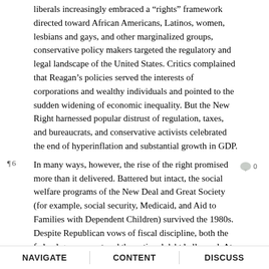liberals increasingly embraced a “rights” framework directed toward African Americans, Latinos, women, lesbians and gays, and other marginalized groups, conservative policy makers targeted the regulatory and legal landscape of the United States. Critics complained that Reagan’s policies served the interests of corporations and wealthy individuals and pointed to the sudden widening of economic inequality. But the New Right harnessed popular distrust of regulation, taxes, and bureaucrats, and conservative activists celebrated the end of hyperinflation and substantial growth in GDP.
In many ways, however, the rise of the right promised more than it delivered. Battered but intact, the social welfare programs of the New Deal and Great Society (for example, social security, Medicaid, and Aid to Families with Dependent Children) survived the 1980s. Despite Republican vows of fiscal discipline, both the federal government and the national debt ballooned. At the end of the decade, conservative Christians viewed popular culture as more vulgar and hostile to their values than ever before. And in the near term, the New Right registered only partial victories on a range of public policies and cultural issues. Yet from a long-term
NAVIGATE   CONTENT   DISCUSS